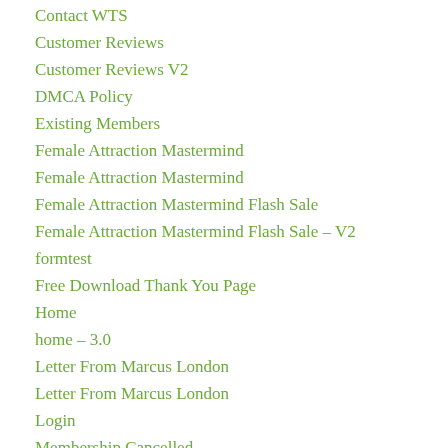Contact WTS
Customer Reviews
Customer Reviews V2
DMCA Policy
Existing Members
Female Attraction Mastermind
Female Attraction Mastermind
Female Attraction Mastermind Flash Sale
Female Attraction Mastermind Flash Sale – V2
formtest
Free Download Thank You Page
Home
home – 3.0
Letter From Marcus London
Letter From Marcus London
Login
Membership Cancelled